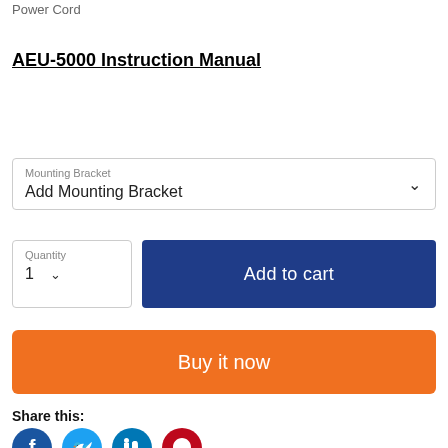Power Cord
AEU-5000 Instruction Manual
Mounting Bracket
Add Mounting Bracket
Quantity
1
Add to cart
Buy it now
Share this: